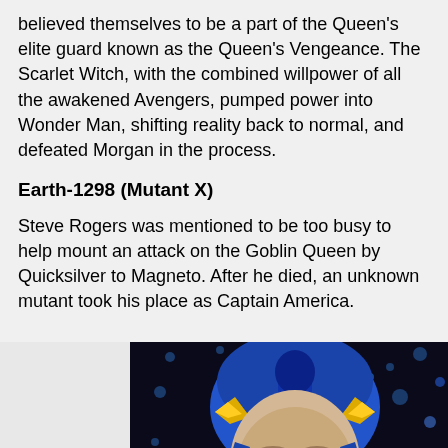believed themselves to be a part of the Queen's elite guard known as the Queen's Vengeance. The Scarlet Witch, with the combined willpower of all the awakened Avengers, pumped power into Wonder Man, shifting reality back to normal, and defeated Morgan in the process.
Earth-1298 (Mutant X)
Steve Rogers was mentioned to be too busy to help mount an attack on the Goblin Queen by Quicksilver to Magneto. After he died, an unknown mutant took his place as Captain America.
[Figure (illustration): Comic book illustration of a character wearing a Captain America-style blue helmet with wing details, depicted in dark blue and yellow tones against a dark background with blue dot patterns.]